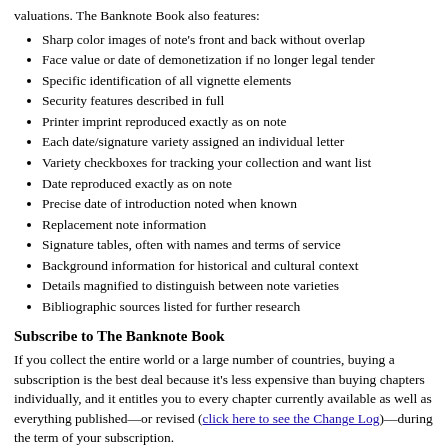valuations. The Banknote Book also features:
Sharp color images of note's front and back without overlap
Face value or date of demonetization if no longer legal tender
Specific identification of all vignette elements
Security features described in full
Printer imprint reproduced exactly as on note
Each date/signature variety assigned an individual letter
Variety checkboxes for tracking your collection and want list
Date reproduced exactly as on note
Precise date of introduction noted when known
Replacement note information
Signature tables, often with names and terms of service
Background information for historical and cultural context
Details magnified to distinguish between note varieties
Bibliographic sources listed for further research
Subscribe to The Banknote Book
If you collect the entire world or a large number of countries, buying a subscription is the best deal because it's less expensive than buying chapters individually, and it entitles you to every chapter currently available as well as everything published—or revised (click here to see the Change Log)—during the term of your subscription.